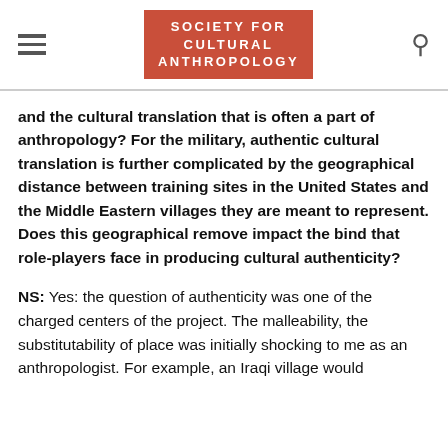SOCIETY FOR CULTURAL ANTHROPOLOGY
and the cultural translation that is often a part of anthropology? For the military, authentic cultural translation is further complicated by the geographical distance between training sites in the United States and the Middle Eastern villages they are meant to represent. Does this geographical remove impact the bind that role-players face in producing cultural authenticity?
NS: Yes: the question of authenticity was one of the charged centers of the project. The malleability, the substitutability of place was initially shocking to me as an anthropologist. For example, an Iraqi village would